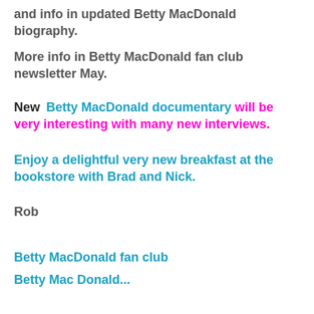and info in updated Betty MacDonald biography.
More info in Betty MacDonald fan club newsletter May.
New  Betty MacDonald documentary will be very interesting with many new interviews.
Enjoy a delightful very new breakfast at the bookstore with Brad and Nick.
Rob
Betty MacDonald fan club
Betty MacDonald...